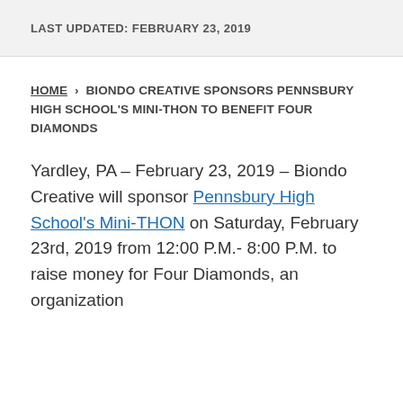LAST UPDATED: FEBRUARY 23, 2019
HOME › BIONDO CREATIVE SPONSORS PENNSBURY HIGH SCHOOL'S MINI-THON TO BENEFIT FOUR DIAMONDS
Yardley, PA – February 23, 2019 – Biondo Creative will sponsor Pennsbury High School's Mini-THON on Saturday, February 23rd, 2019 from 12:00 P.M.- 8:00 P.M. to raise money for Four Diamonds, an organization